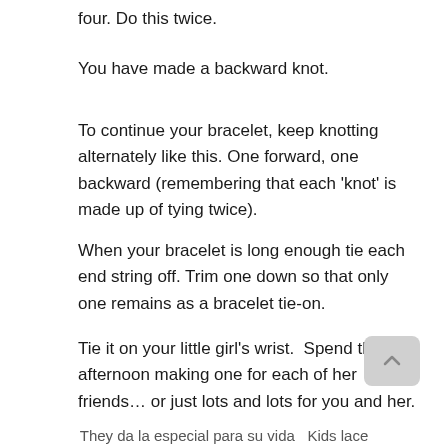four. Do this twice.
You have made a backward knot.
To continue your bracelet, keep knotting alternately like this. One forward, one backward (remembering that each 'knot' is made up of tying twice).
When your bracelet is long enough tie each end string off. Trim one down so that only one remains as a bracelet tie-on.
Tie it on your little girl's wrist.  Spend the afternoon making one for each of her friends… or just lots and lots for you and her.
They da la especial para su vida Kids lace